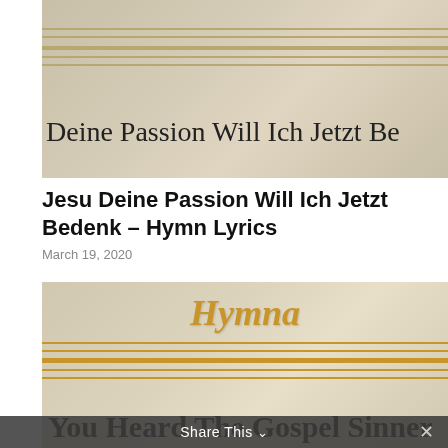[Figure (photo): Close-up of a hymn book cover showing golden decorative lines and partial text 'Deine Passion Will Ich Jetzt Be']
Jesu Deine Passion Will Ich Jetzt Bedenk – Hymn Lyrics
March 19, 2020
[Figure (photo): Close-up of a hymn book cover showing the word 'Hymna' in golden italic text with decorative golden lines and partial text 'You Heard The Gospel Sinner']
Share This ∨  ✕